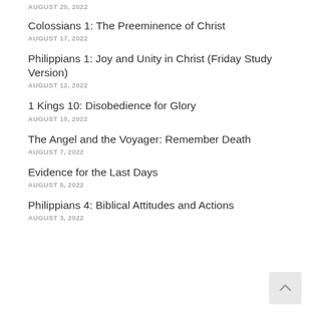AUGUST 25, 2022
Colossians 1: The Preeminence of Christ
AUGUST 17, 2022
Philippians 1: Joy and Unity in Christ (Friday Study Version)
AUGUST 12, 2022
1 Kings 10: Disobedience for Glory
AUGUST 10, 2022
The Angel and the Voyager: Remember Death
AUGUST 7, 2022
Evidence for the Last Days
AUGUST 5, 2022
Philippians 4: Biblical Attitudes and Actions
AUGUST 3, 2022